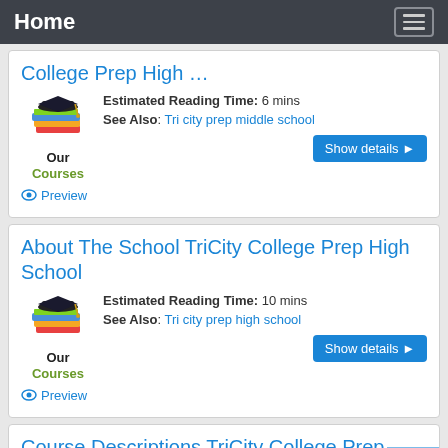Home
College Prep High …
Estimated Reading Time: 6 mins
See Also: Tri city prep middle school
Preview
About The School TriCity College Prep High School
Estimated Reading Time: 10 mins
See Also: Tri city prep high school
Preview
Course Descriptions TriCity College Prep High School